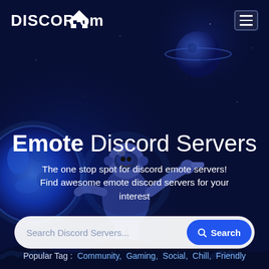[Figure (screenshot): DiscordHome website hero section with dark navy blue background, illustrated astronaut robot and glowing blue earth globe, with a planet in the upper right. Shows branding, main heading, search bar, and popular tags.]
DISCORD Home
Emote Discord Servers
The one stop spot for discord emote servers! Find awesome emote discord servers for your interest
Search Discord Servers...
Popular Tag: Community, Gaming, Social, Chill, Friendly